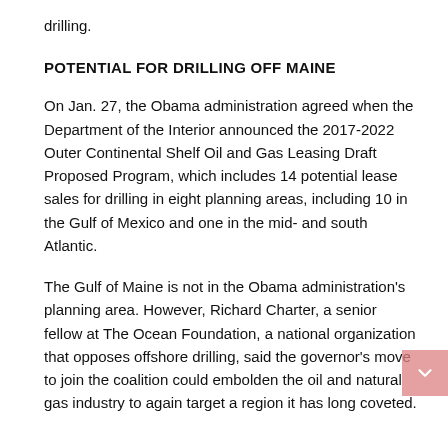drilling.
POTENTIAL FOR DRILLING OFF MAINE
On Jan. 27, the Obama administration agreed when the Department of the Interior announced the 2017-2022 Outer Continental Shelf Oil and Gas Leasing Draft Proposed Program, which includes 14 potential lease sales for drilling in eight planning areas, including 10 in the Gulf of Mexico and one in the mid- and south Atlantic.
The Gulf of Maine is not in the Obama administration's planning area. However, Richard Charter, a senior fellow at The Ocean Foundation, a national organization that opposes offshore drilling, said the governor's move to join the coalition could embolden the oil and natural gas industry to again target a region it has long coveted.